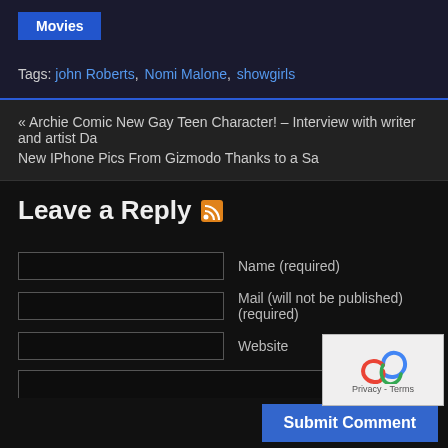Movies
Tags: john Roberts, Nomi Malone, showgirls
« Archie Comic New Gay Teen Character! – Interview with writer and artist Da
New IPhone Pics From Gizmodo Thanks to a Sa
Leave a Reply
Name (required)
Mail (will not be published) (required)
Website
Submit Comment